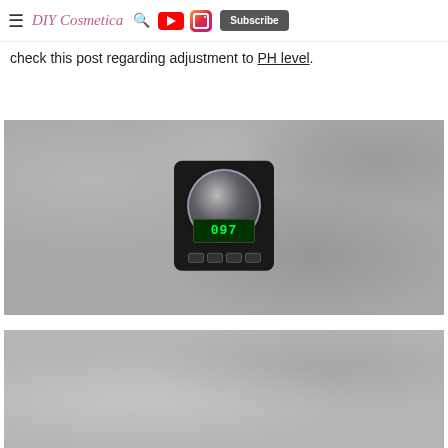DIY Cosmetica — Subscribe
check this post regarding adjustment to PH level.
[Figure (photo): Overhead view of a small digital pocket scale with a glass bowl on top, displaying '097' on a green LED screen, placed on a concrete surface.]
[Figure (photo): Partial view of a concrete surface, bottom portion of second image.]